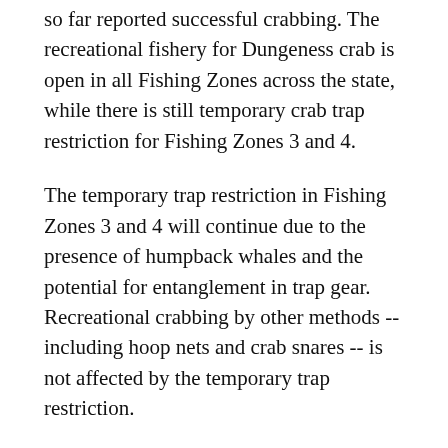so far reported successful crabbing. The recreational fishery for Dungeness crab is open in all Fishing Zones across the state, while there is still temporary crab trap restriction for Fishing Zones 3 and 4.
The temporary trap restriction in Fishing Zones 3 and 4 will continue due to the presence of humpback whales and the potential for entanglement in trap gear. Recreational crabbing by other methods -- including hoop nets and crab snares -- is not affected by the temporary trap restriction.
"Based on aerial and vessel-based surveys, and after consulting with the Dungeness Crab Fishing Gear Working Group, the California Department of Fish and Wildlife (CDFW) will continue to delay the commercial fishery and temporarily restrict